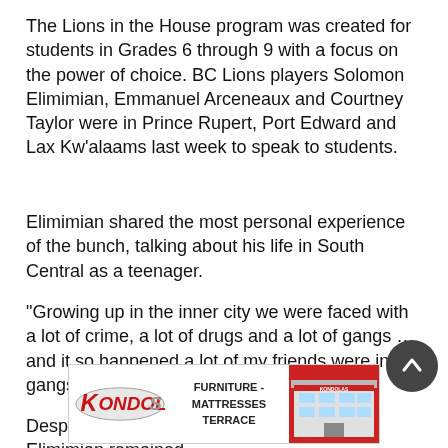The Lions in the House program was created for students in Grades 6 through 9 with a focus on the power of choice. BC Lions players Solomon Elimimian, Emmanuel Arceneaux and Courtney Taylor were in Prince Rupert, Port Edward and Lax Kw'alaams last week to speak to students.
Elimimian shared the most personal experience of the bunch, talking about his life in South Central as a teenager.
“Growing up in the inner city we were faced with a lot of crime, a lot of drugs and a lot of gangs … and it so happened a lot of my friends were in gangs,” he said.
Despite the choices of his friends, Elimimian remained
[Figure (advertisement): Kondolas Furniture - Mattresses Terrace advertisement with logo and store image]